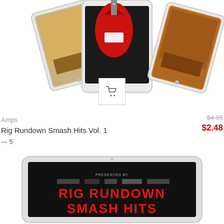[Figure (photo): Three tablet devices displaying magazine/book covers about guitar amps, fanned out with the center one showing a red electric guitar on a dark background]
[Figure (illustration): Shopping cart icon button inside a square white box with light gray border]
Amps
$4.95
$2.48
Rig Rundown Smash Hits Vol. 1
— 5
[Figure (photo): A single white tablet device showing a dark screen with 'RIG RUNDOWN SMASH HITS' text in bold red letters on black background]